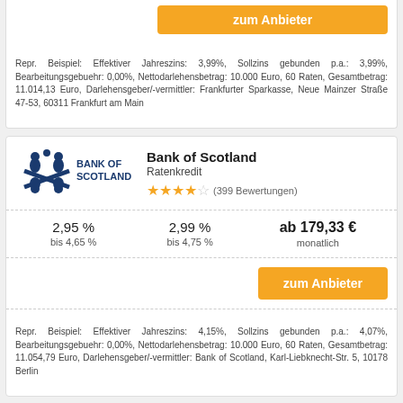Repr. Beispiel: Effektiver Jahreszins: 3,99%, Sollzins gebunden p.a.: 3,99%, Bearbeitungsgebuehr: 0,00%, Nettodarlehensbetrag: 10.000 Euro, 60 Raten, Gesamtbetrag: 11.014,13 Euro, Darlehensgeber/-vermittler: Frankfurter Sparkasse, Neue Mainzer Straße 47-53, 60311 Frankfurt am Main
[Figure (logo): Bank of Scotland logo - blue cross/people icon with BANK OF SCOTLAND text]
Bank of Scotland
Ratenkredit
★★★★☆ (399 Bewertungen)
2,95 %
bis 4,65 %
2,99 %
bis 4,75 %
ab 179,33 €
monatlich
zum Anbieter
Repr. Beispiel: Effektiver Jahreszins: 4,15%, Sollzins gebunden p.a.: 4,07%, Bearbeitungsgebuehr: 0,00%, Nettodarlehensbetrag: 10.000 Euro, 60 Raten, Gesamtbetrag: 11.054,79 Euro, Darlehensgeber/-vermittler: Bank of Scotland, Karl-Liebknecht-Str. 5, 10178 Berlin
[Figure (logo): N26 logo - stylized N26 wordmark with US flag badge]
N26
N26 Credit
★★★★☆ (16 Bewertungen)